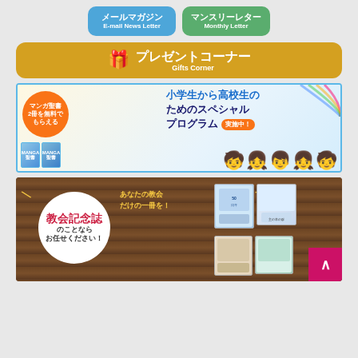[Figure (screenshot): Two rounded button banners: blue 'メールマガジン / E-mail News Letter' and green 'マンスリーレター / Monthly Letter']
[Figure (screenshot): Orange rounded banner with gift icon: プレゼントコーナー / Gifts Corner]
[Figure (screenshot): Promotional banner with blue border for children's special program (小学生から高校生のためのスペシャルプログラム 実施中!) with manga bible books and cartoon kids]
[Figure (screenshot): Church anniversary magazine promotion banner (教会記念誌のことならお任せください!) on wood texture background with white circle and book collage. Magenta back-to-top button in bottom right.]